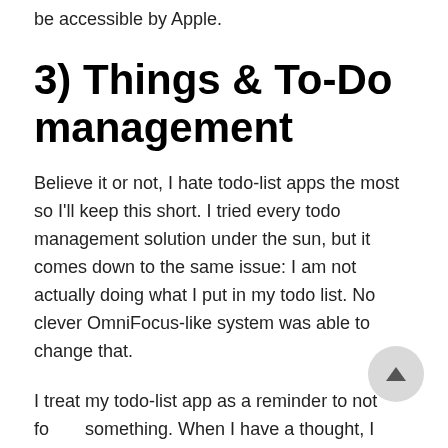be accessible by Apple.
3) Things & To-Do management
Believe it or not, I hate todo-list apps the most so I'll keep this short. I tried every todo management solution under the sun, but it comes down to the same issue: I am not actually doing what I put in my todo list. No clever OmniFocus-like system was able to change that.
I treat my todo-list app as a reminder to not forget something. When I have a thought, I immediately log it on my iPhone or with Siri, then later remember